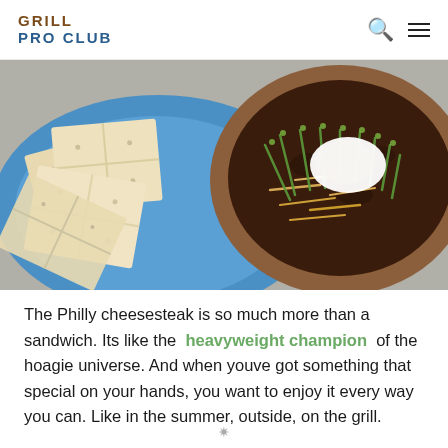GRILL PRO CLUB
[Figure (photo): Overhead photo of a blue plate with crackers/flatbread on the left and a brown bowl of chili or bean soup topped with sour cream, shredded cheese, and green onions on the right.]
The Philly cheesesteak is so much more than a sandwich. Its like the heavyweight champion of the hoagie universe. And when youve got something that special on your hands, you want to enjoy it every way you can. Like in the summer, outside, on the grill.